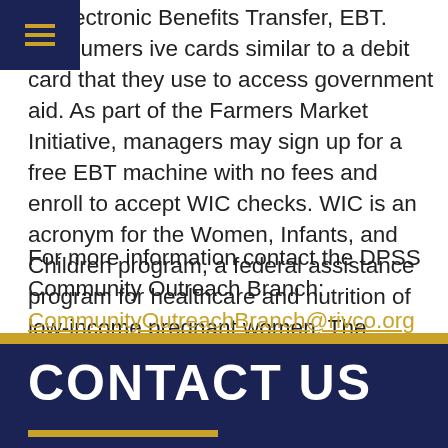pt Electronic Benefits Transfer, EBT. Consumers ive cards similar to a debit card that they use to access government aid. As part of the Farmers Market Initiative, managers may sign up for a free EBT machine with no fees and enroll to accept WIC checks. WIC is an acronym for the Women, Infants, and Children program, a federal assistance program for healthcare and nutrition of low-income pregnant women. The initiative will provide better access for EBT/WIC customers to Farmers Markets.
For more information contact the DPSS Community Outreach Branch:
CommunityOutreachBranch@rivco.org
CONTACT US